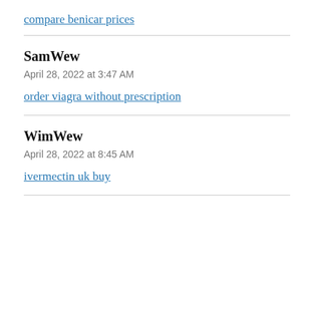compare benicar prices
SamWew
April 28, 2022 at 3:47 AM
order viagra without prescription
WimWew
April 28, 2022 at 8:45 AM
ivermectin uk buy